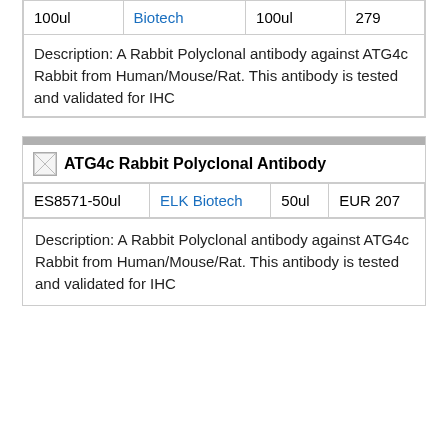| 100ul | Biotech | 100ul | 279 |
Description: A Rabbit Polyclonal antibody against ATG4c Rabbit from Human/Mouse/Rat. This antibody is tested and validated for IHC
[Figure (other): Small image placeholder icon]
ATG4c Rabbit Polyclonal Antibody
| ES8571-50ul | ELK Biotech | 50ul | EUR 207 |
Description: A Rabbit Polyclonal antibody against ATG4c Rabbit from Human/Mouse/Rat. This antibody is tested and validated for IHC